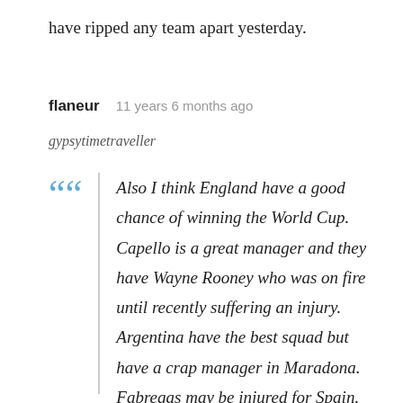have ripped any team apart yesterday.
flaneur   11 years 6 months ago
gypsytimetraveller
Also I think England have a good chance of winning the World Cup. Capello is a great manager and they have Wayne Rooney who was on fire until recently suffering an injury. Argentina have the best squad but have a crap manager in Maradona. Fabregas may be injured for Spain. France are shit. Brazil and Spain